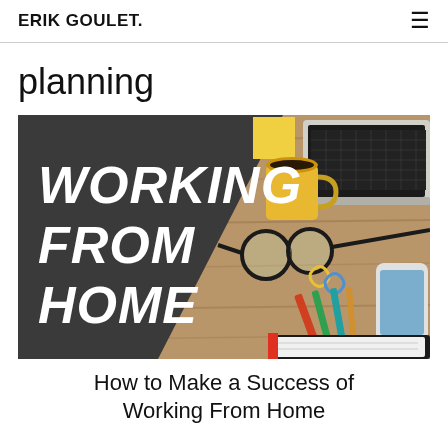ERIK GOULET.
planning
[Figure (photo): Working From Home promotional image: left half dark grey triangle with bold white italic text 'WORKING FROM HOME', right half photo of a wooden desk with a laptop, yellow coffee mug, glasses, pencils, paperclips, smartphone, and notebook]
How to Make a Success of Working From Home